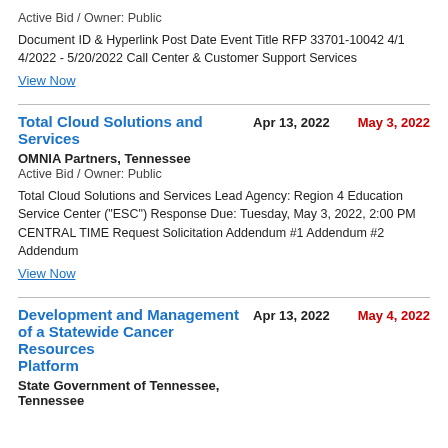Active Bid / Owner: Public
Document ID & Hyperlink Post Date Event Title RFP 33701-10042 4/14/2022 - 5/20/2022 Call Center & Customer Support Services
View Now
Total Cloud Solutions and Services
Apr 13, 2022
May 3, 2022
OMNIA Partners, Tennessee
Active Bid / Owner: Public
Total Cloud Solutions and Services Lead Agency: Region 4 Education Service Center ("ESC") Response Due: Tuesday, May 3, 2022, 2:00 PM CENTRAL TIME Request Solicitation Addendum #1 Addendum #2 Addendum
View Now
Development and Management of a Statewide Cancer Resources Platform
Apr 13, 2022
May 4, 2022
State Government of Tennessee, Tennessee